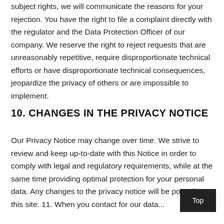subject rights, we will communicate the reasons for your rejection. You have the right to file a complaint directly with the regulator and the Data Protection Officer of our company. We reserve the right to reject requests that are unreasonably repetitive, require disproportionate technical efforts or have disproportionate technical consequences, jeopardize the privacy of others or are impossible to implement.
10. CHANGES IN THE PRIVACY NOTICE
Our Privacy Notice may change over time. We strive to review and keep up-to-date with this Notice in order to comply with legal and regulatory requirements, while at the same time providing optimal protection for your personal data. Any changes to the privacy notice will be posted on this site. 11. When you contact for our data...